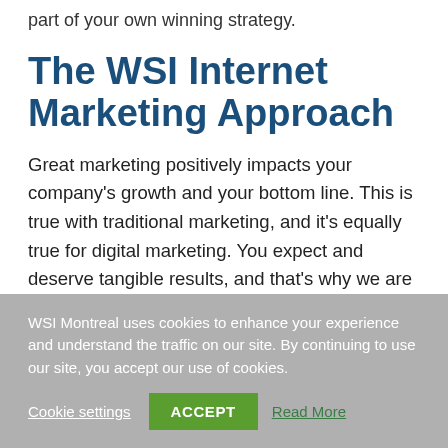part of your own winning strategy.
The WSI Internet Marketing Approach
Great marketing positively impacts your company's growth and your bottom line. This is true with traditional marketing, and it's equally true for digital marketing. You expect and deserve tangible results, and that's why we are
WSI Montreal uses cookies to enhance your experience and understand the traffic on our site. By continuing to use our site, you accept our use of cookies.
Cookie settings  ACCEPT  Read More